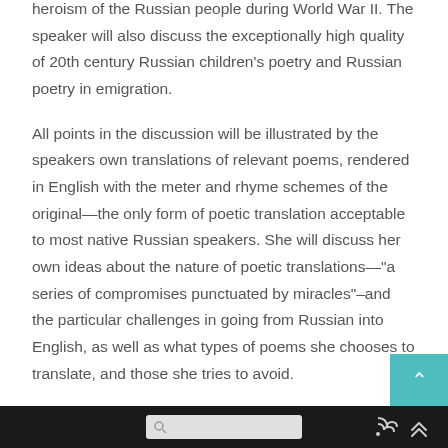heroism of the Russian people during World War II. The speaker will also discuss the exceptionally high quality of 20th century Russian children's poetry and Russian poetry in emigration.
All points in the discussion will be illustrated by the speakers own translations of relevant poems, rendered in English with the meter and rhyme schemes of the original—the only form of poetic translation acceptable to most native Russian speakers. She will discuss her own ideas about the nature of poetic translations—"a series of compromises punctuated by miracles"–and the particular challenges in going from Russian into English, as well as what types of poems she chooses to translate, and those she tries to avoid.
[search] [RSS] [up]